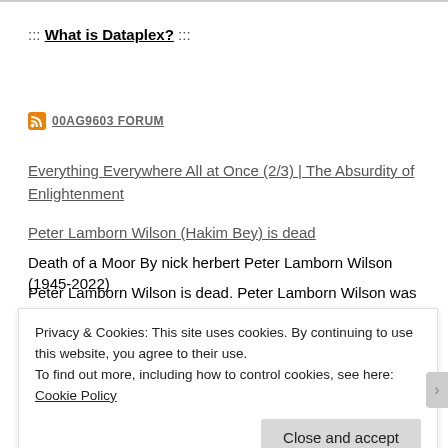::: What is Dataplex? :::
00AG9603 FORUM
Everything Everywhere All at Once (2/3) | The Absurdity of Enlightenment
Peter Lamborn Wilson (Hakim Bey) is dead
Death of a Moor By nick herbert Peter Lamborn Wilson (1945-2022)
Peter Lamborn Wilson is dead. Peter Lamborn Wilson was a
Privacy & Cookies: This site uses cookies. By continuing to use this website, you agree to their use.
To find out more, including how to control cookies, see here: Cookie Policy
Close and accept